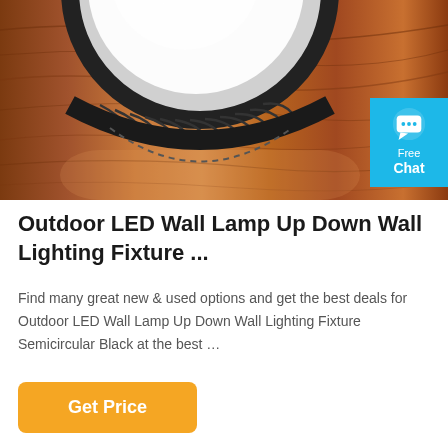[Figure (photo): Close-up photo of a circular LED high-bay lamp with black heat sink fins, white diffuser panel, resting on a wooden surface. A cyan 'Free Chat' badge is overlaid in the top-right corner.]
Outdoor LED Wall Lamp Up Down Wall Lighting Fixture ...
Find many great new & used options and get the best deals for Outdoor LED Wall Lamp Up Down Wall Lighting Fixture Semicircular Black at the best …
Get Price